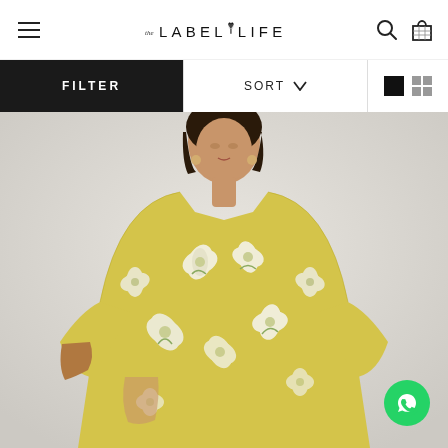THE LABEL LIFE
FILTER | SORT | View toggle
[Figure (photo): Woman wearing a yellow floral print dress with white flower patterns and short sleeves, shown from waist up against a light grey background.]